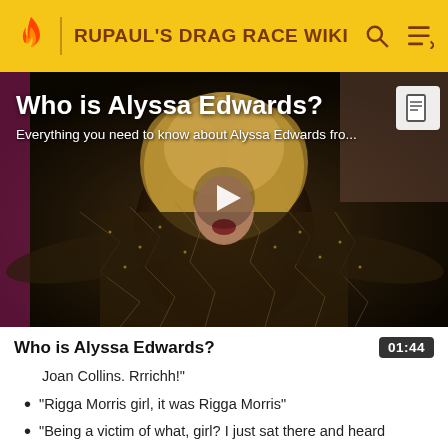RUPAUL'S DRAG RACE WIKI
[Figure (screenshot): Video thumbnail showing Alyssa Edwards in a sparkly costume with arms spread wide, dark background. Overlaid with white text title 'Who is Alyssa Edwards?' and subtitle 'Everything you need to know about Alyssa Edwards fro...' and a white play button triangle in the center. A document icon appears in top right corner.]
Who is Alyssa Edwards?
01:44
Joan Collins. Rrrichh!"
"Rigga Morris girl, it was Rigga Morris"
"Being a victim of what, girl? I just sat there and heard everything you had to say."